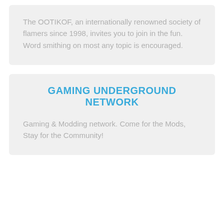The OOTIKOF, an internationally renowned society of flamers since 1998, invites you to join in the fun. Word smithing on most any topic is encouraged.
GAMING UNDERGROUND NETWORK
Gaming & Modding network. Come for the Mods, Stay for the Community!